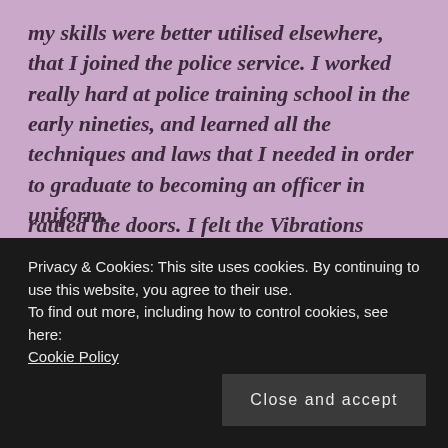my skills were better utilised elsewhere, that I joined the police service. I worked really hard at police training school in the early nineties, and learned all the techniques and laws that I needed in order to graduate to becoming an officer in uniform.

I can vividly remember when the decision to join counter-terror took hold of me. On the night of 9th February 1996, I
rattled the doors. I felt the vibrations
Privacy & Cookies: This site uses cookies. By continuing to use this website, you agree to their use.
To find out more, including how to control cookies, see here:
Cookie Policy
Close and accept